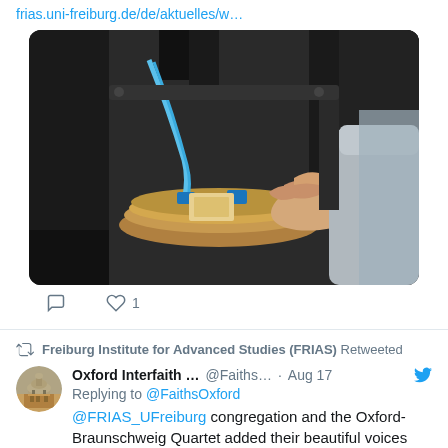frias.uni-freiburg.de/de/aktuelles/w…
[Figure (photo): Laboratory equipment photo: a person's hand adjusting a sample on a scientific instrument, with blue wires and microscope visible, taken in a lab setting]
0 comments, 1 like
Freiburg Institute for Advanced Studies (FRIAS) Retweeted
Oxford Interfaith … @Faiths… · Aug 17
Replying to @FaithsOxford
@FRIAS_UFreiburg congregation and the Oxford-Braunschweig Quartet added their beautiful voices singing it according to the Anglican tradition and the German Reformation tradition, according to Luther…